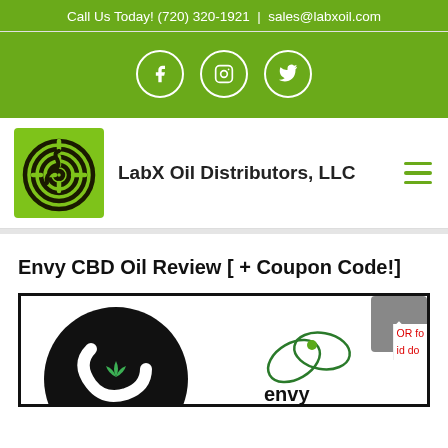Call Us Today! (720) 320-1921 | sales@labxoil.com
[Figure (other): Social media icons bar with Facebook, Instagram, and Twitter icons on green background]
[Figure (logo): LabX Oil Distributors LLC logo - green square with black maze/spiral pattern, next to text 'LabX Oil Distributors, LLC' and hamburger menu icon]
Envy CBD Oil Review [ + Coupon Code!]
[Figure (illustration): Article header image showing two logos: left - black circular Envy CBD logo, right - green leaf Envy CBD logo, with gray scroll-to-top button overlay and partial red sidebar]